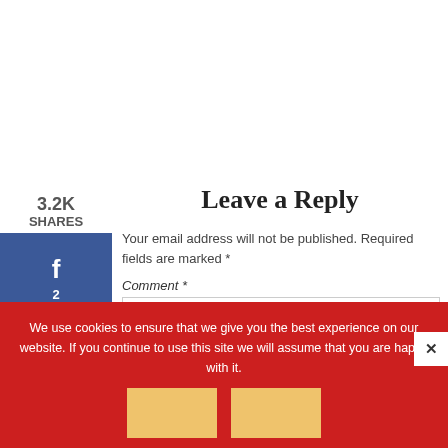3.2K SHARES
[Figure (logo): Facebook share button with 'f' icon and count 2]
[Figure (logo): Twitter share button with bird icon]
[Figure (logo): Pinterest share button with 'P' icon and count 3.2K]
Leave a Reply
Your email address will not be published. Required fields are marked *
Comment *
We use cookies to ensure that we give you the best experience on our website. If you continue to use this site we will assume that you are happy with it.